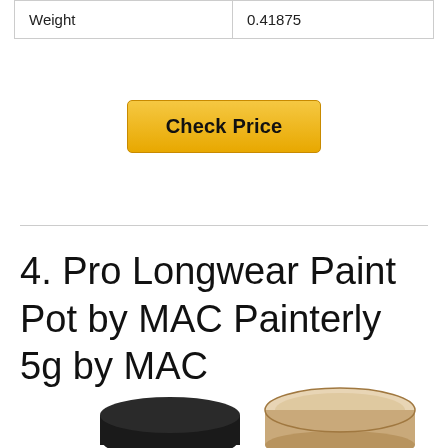| Weight | 0.41875 |
Check Price
4. Pro Longwear Paint Pot by MAC Painterly 5g by MAC
[Figure (photo): Product photo of MAC Pro Longwear Paint Pot, showing black container and open beige/nude cream pot]